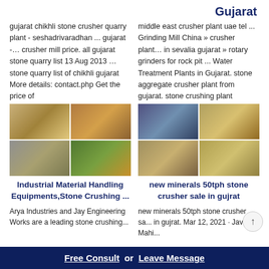Gujarat
gujarat chikhli stone crusher quarry plant - seshadrivaradhan ... gujarat -… crusher mill price. all gujarat stone quarry list 13 Aug 2013 … stone quarry list of chikhli gujarat More details: contact.php Get the price of
middle east crusher plant uae tel ... Grinding Mill China » crusher plant… in sevalia gujarat » rotary grinders for rock pit ... Water Treatment Plants in Gujarat. stone aggregate crusher plant from gujarat. stone crushing plant
[Figure (photo): Four-panel image grid of stone crushing and quarry industrial equipment]
[Figure (photo): Four-panel image grid of stone crusher plants and quarry sites in Gujarat]
Industrial Material Handling Equipments,Stone Crushing ...
new minerals 50tph stone crusher sale in gujrat
Arya Industries and Jay Engineering Works are a leading stone crushing...
new minerals 50tph stone crusher sa... in gujrat, Mar 12, 2021, Javal Mahi...
Free Consult  or  Leave Message